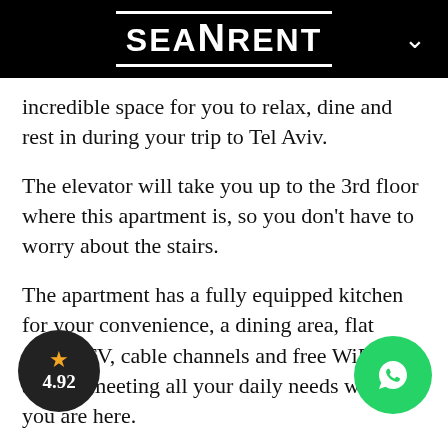SEANRENT
incredible space for you to relax, dine and rest in during your trip to Tel Aviv.
The elevator will take you up to the 3rd floor where this apartment is, so you don't have to worry about the stairs.
The apartment has a fully equipped kitchen for your convenience, a dining area, flat screen TV, cable channels and free WiFi access, meeting all your daily needs while you are here.
T  a great choice, for anyone that wants to live in comfort and style the next time you are in Tel Aviv.
[Figure (other): Rating badge showing 4.92 stars on dark circular background]
[Figure (other): WhatsApp contact button - green circular icon]